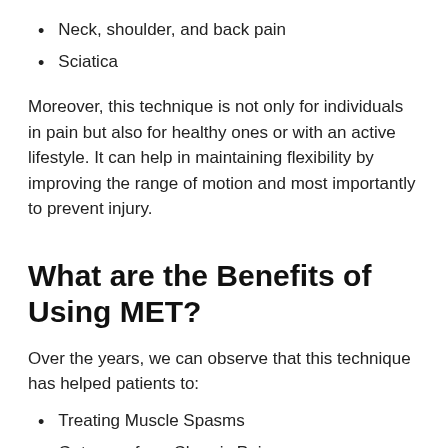Neck, shoulder, and back pain
Sciatica
Moreover, this technique is not only for individuals in pain but also for healthy ones or with an active lifestyle. It can help in maintaining flexibility by improving the range of motion and most importantly to prevent injury.
What are the Benefits of Using MET?
Over the years, we can observe that this technique has helped patients to:
Treating Muscle Spasms
Get away from Chronic Pain
Improvement of Range of Motion (ROM) or mobility